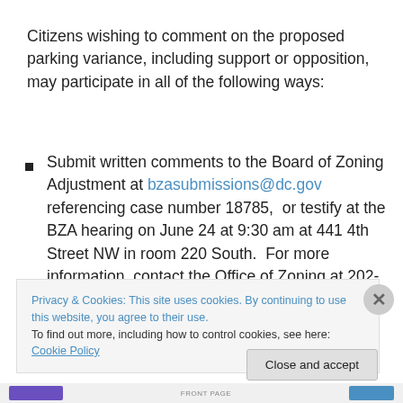Citizens wishing to comment on the proposed parking variance, including support or opposition, may participate in all of the following ways:
Submit written comments to the Board of Zoning Adjustment at bzasubmissions@dc.gov referencing case number 18785,  or testify at the BZA hearing on June 24 at 9:30 am at 441 4th Street NW in room 220 South.  For more information, contact the Office of Zoning at 202-727-6311.
Privacy & Cookies: This site uses cookies. By continuing to use this website, you agree to their use. To find out more, including how to control cookies, see here: Cookie Policy
Close and accept